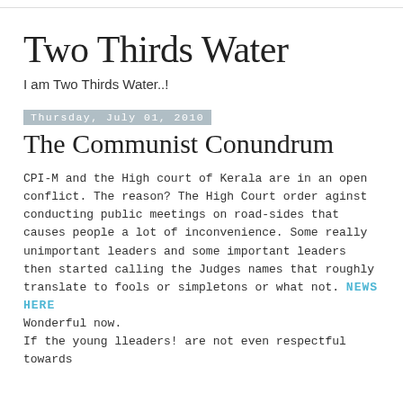Two Thirds Water
I am Two Thirds Water..!
Thursday, July 01, 2010
The Communist Conundrum
CPI-M and the High court of Kerala are in an open conflict. The reason? The High Court order aginst conducting public meetings on road-sides that causes people a lot of inconvenience. Some really unimportant leaders and some important leaders then started calling the Judges names that roughly translate to fools or simpletons or what not. NEWS HERE Wonderful now. If the young lleaders! are not even respectful towards